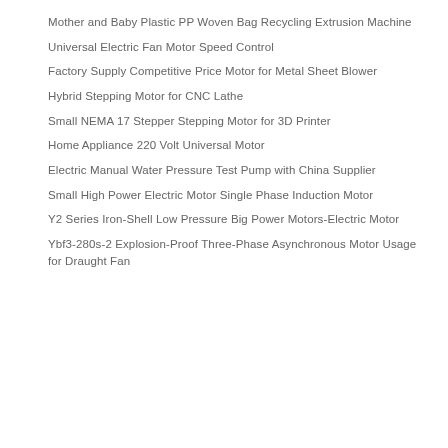Mother and Baby Plastic PP Woven Bag Recycling Extrusion Machine
Universal Electric Fan Motor Speed Control
Factory Supply Competitive Price Motor for Metal Sheet Blower
Hybrid Stepping Motor for CNC Lathe
Small NEMA 17 Stepper Stepping Motor for 3D Printer
Home Appliance 220 Volt Universal Motor
Electric Manual Water Pressure Test Pump with China Supplier
Small High Power Electric Motor Single Phase Induction Motor
Y2 Series Iron-Shell Low Pressure Big Power Motors-Electric Motor
Ybf3-280s-2 Explosion-Proof Three-Phase Asynchronous Motor Usage for Draught Fan